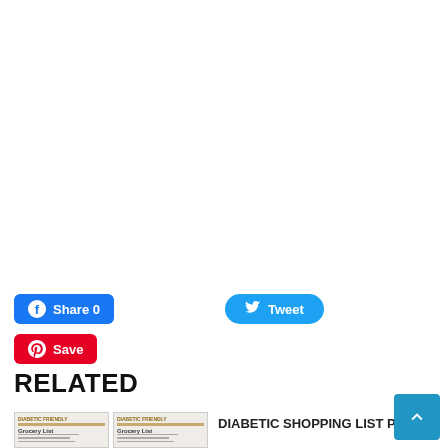[Figure (screenshot): White blank area at top of page (advertisement or empty space placeholder)]
Share 0
Tweet
Save
RELATED
[Figure (photo): Two thumbnail images of Grocery List documents]
DIABETIC SHOPPING LIST PDF